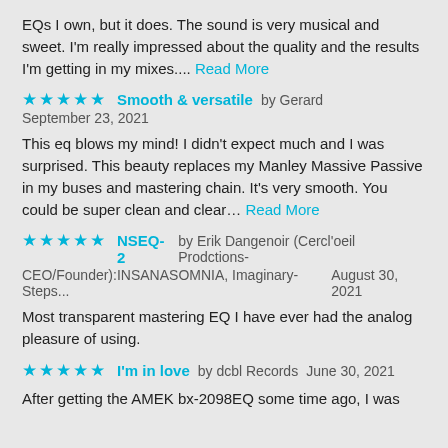EQs I own, but it does. The sound is very musical and sweet. I'm really impressed about the quality and the results I'm getting in my mixes.... Read More
★★★★★  Smooth & versatile  by Gerard  September 23, 2021
This eq blows my mind! I didn't expect much and I was surprised. This beauty replaces my Manley Massive Passive in my buses and mastering chain. It's very smooth. You could be super clean and clear… Read More
★★★★★  NSEQ-2  by Erik Dangenoir (Cercl'oeil Prodctions-CEO/Founder):INSANASOMNIA, Imaginary-Steps...  August 30, 2021
Most transparent mastering EQ I have ever had the analog pleasure of using.
★★★★★  I'm in love  by dcbl Records  June 30, 2021
After getting the AMEK bx-2098EQ some time ago, I was